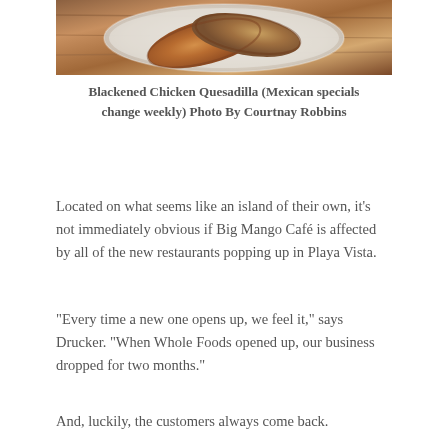[Figure (photo): A plate of Blackened Chicken Quesadilla on a wooden surface, viewed from above]
Blackened Chicken Quesadilla (Mexican specials change weekly) Photo By Courtnay Robbins
Located on what seems like an island of their own, it's not immediately obvious if Big Mango Café is affected by all of the new restaurants popping up in Playa Vista.
“Every time a new one opens up, we feel it,” says Drucker. “When Whole Foods opened up, our business dropped for two months.”
And, luckily, the customers always come back.